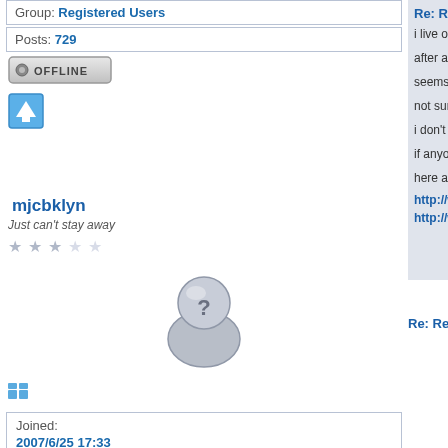Group: Registered Users
Posts: 729
[Figure (screenshot): OFFLINE button]
[Figure (screenshot): Up arrow icon]
mjcbklyn
Re: Residential Projects
Just can't stay away
[Figure (screenshot): Star rating: 3 out of 5 stars (3 filled, 2 empty)]
[Figure (photo): Default user avatar (grey silhouette with question mark)]
[Figure (screenshot): Small blue icon]
| Joined: |  |
| 2007/6/25 17:33 |  |
| Last Login : |  |
| 2017/11/7 17:24 |  |
| Group: |  |
| Registered Users |  |
| Posts: 75 |  |
[Figure (screenshot): OFFLINE button]
i live on the same block noticed it looks like the b
after a little googling i fo
seems it has been appro about called RushmanD
not sure this is the same
i don't know what micro- more in other countries.
if anyone has any more on what will be going up
here are the PDF's i fou
http://www.cityofjerse
http://www.theicra.or